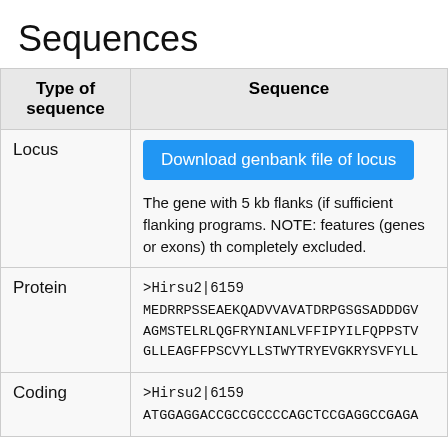Sequences
| Type of sequence | Sequence |
| --- | --- |
| Locus | Download genbank file of locus
The gene with 5 kb flanks (if sufficient flanking programs. NOTE: features (genes or exons) th completely excluded. |
| Protein | >Hirsu2|6159
MEDRRPSSEAEKQADVVAVATDRPGSGSADDDGV
AGMSTELRLQGFRYNIANLVFFIPYILFQPPSTV
GLLEAGFFPSCVYLLSTWYTRYEVGKRYSVFYLL |
| Coding | >Hirsu2|6159
ATGGAGGACCGCCGCCCCAGCTCCGAGGCCGAGA |